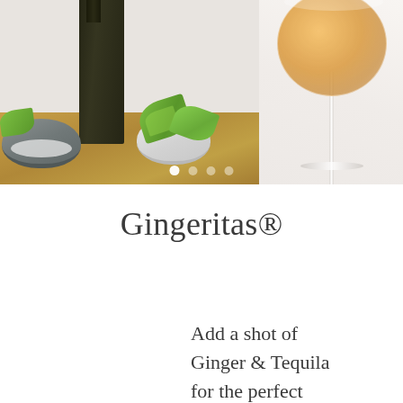[Figure (photo): A cocktail photo showing a stemmed glass filled with an amber/golden drink, alongside small bowls containing lime wedges and salt, a dark bottle, on a wooden cutting board with marble surface background. Carousel navigation dots visible.]
Gingeritas®
Add a shot of Ginger & Tequila for the perfect